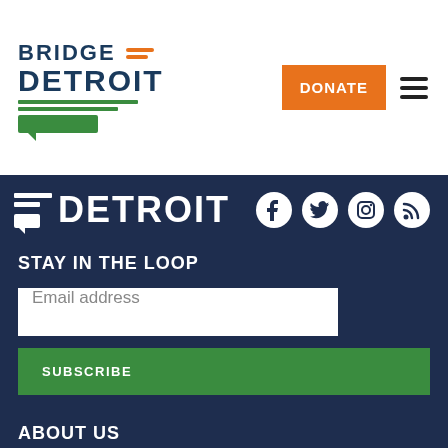[Figure (logo): Bridge Detroit logo with orange horizontal lines next to BRIDGE text, green underlines below DETROIT text, and green speech bubble graphic]
DONATE
[Figure (illustration): Hamburger menu icon (three horizontal lines)]
[Figure (logo): Bridge Detroit footer logo - white horizontal lines with speech bubble next to DETROIT text in white]
[Figure (illustration): Social media icons: Facebook, Twitter, Instagram, RSS feed - all white]
STAY IN THE LOOP
Email address
SUBSCRIBE
ABOUT US
Our Story & Vision